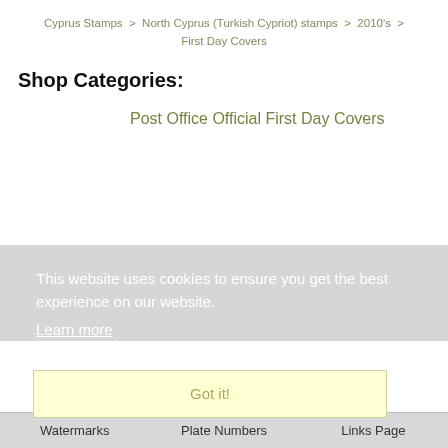Cyprus Stamps > North Cyprus (Turkish Cypriot) stamps > 2010's > First Day Covers
Shop Categories:
Post Office Official First Day Covers
This website uses cookies to ensure you get the best experience on our website. Learn more
Got it!
Watermarks   Plate Numbers   Links Page